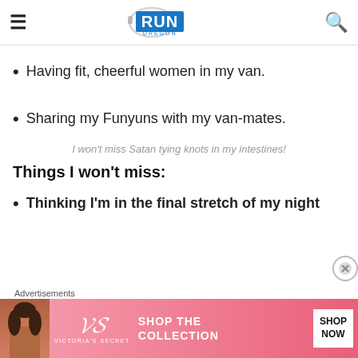Run Oregon
Having fit, cheerful women in my van.
Sharing my Funyuns with my van-mates.
I won't miss Satan tying knots in my intestines!
Things I won't miss:
Thinking I'm in the final stretch of my night
Advertisements
[Figure (other): Victoria's Secret advertisement banner with model, VS logo, text 'SHOP THE COLLECTION', and 'SHOP NOW' button]